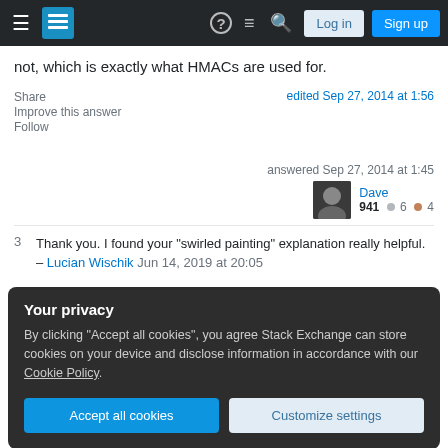Stack Exchange navigation bar with hamburger menu, logo, help, chat, search icons, Log in and Sign up buttons
not, which is exactly what HMACs are used for.
Share
Improve this answer
Follow
edited Sep 27, 2014 at 1:56
answered Sep 27, 2014 at 1:45
Dave
941  6  4
3  Thank you. I found your "swirled painting" explanation really helpful. – Lucian Wischik Jun 14, 2019 at 20:05
Your privacy
By clicking "Accept all cookies", you agree Stack Exchange can store cookies on your device and disclose information in accordance with our Cookie Policy.
Accept all cookies   Customize settings